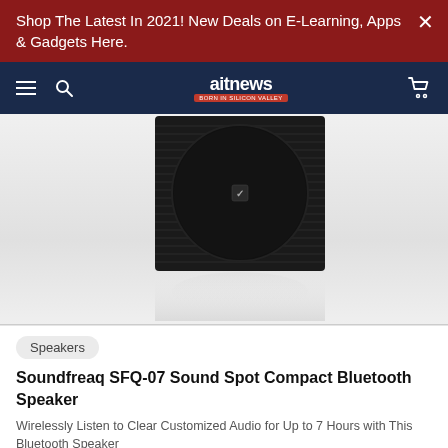Shop The Latest In 2021! New Deals on E-Learning, Apps & Gadgets Here.
[Figure (logo): aitnews navigation bar with hamburger menu, search icon, logo, and cart icon]
[Figure (photo): Soundfreaq SFQ-07 black compact Bluetooth speaker with circular speaker grille, shown with reflection on light background]
Speakers
Soundfreaq SFQ-07 Sound Spot Compact Bluetooth Speaker
Wirelessly Listen to Clear Customized Audio for Up to 7 Hours with This Bluetooth Speaker